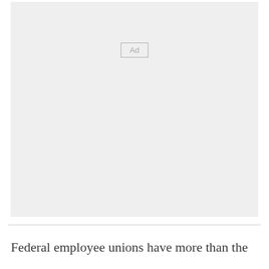[Figure (other): Advertisement placeholder box with 'Ad' label in center]
Federal employee unions have more than the